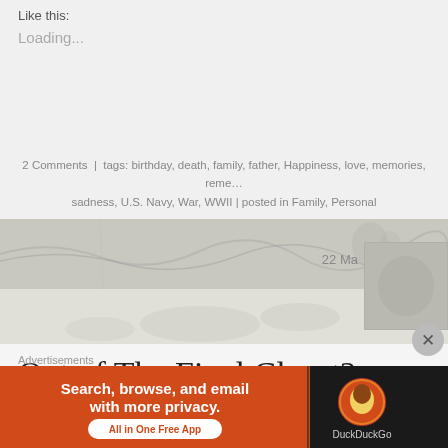Like this:
Loading...
2 Comments  |  tags: birthday, death, family, father, Happiness, love, memories, remembrance, sadness, U.S. Navy, War, WWII | posted in Family, Personal
[Figure (photo): Faded vintage photo used as divider/background element, showing water or naval scene]
Out of The Final Closet?
By Rick Ladd
In October of last year, I posted about a dilemma I
Advertisements
[Figure (screenshot): DuckDuckGo advertisement banner: 'Search, browse, and email with more privacy. All in One Free App' with DuckDuckGo logo on the right]